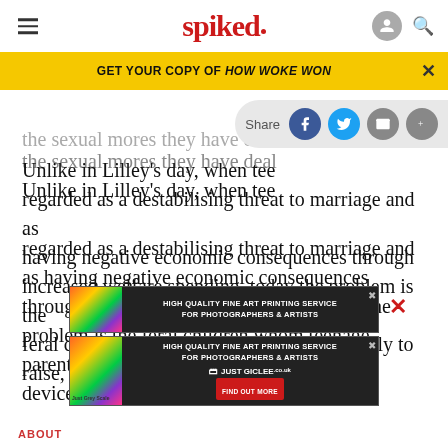spiked
GET YOUR COPY OF HOW WOKE WON
the sexual mores they have dea…
Unlike in Lilley’s day, when teenage pregnancy was regarded as a destabilising threat to marriage and as having negative economic consequences through increased welfare spending, today the problem is the feral children whom teenage parents are likely to raise, if left to their own devices.
[Figure (screenshot): Advertisement for Just Giclee high quality fine art printing service for photographers and artists, shown twice]
ABOUT